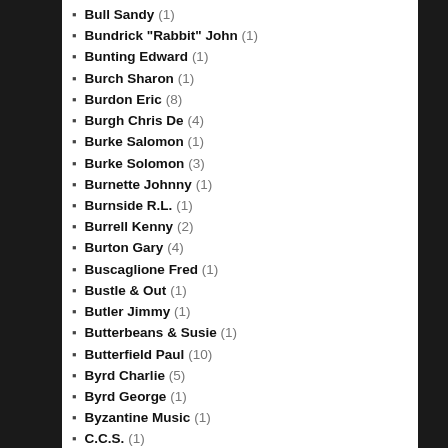Bull Sandy (1)
Bundrick "Rabbit" John (1)
Bunting Edward (1)
Burch Sharon (1)
Burdon Eric (8)
Burgh Chris De (4)
Burke Salomon (1)
Burke Solomon (3)
Burnette Johnny (1)
Burnside R.L. (1)
Burrell Kenny (2)
Burton Gary (4)
Buscaglione Fred (1)
Bustle & Out (1)
Butler Jimmy (1)
Butterbeans & Susie (1)
Butterfield Paul (10)
Byrd Charlie (5)
Byrd George (1)
Byzantine Music (1)
C.C.S. (1)